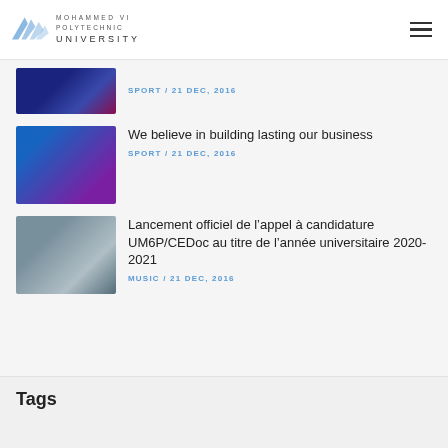Mohammed VI Polytechnic University
[Figure (photo): Partial news item thumbnail - dark venue with lights, sport category]
SPORT / 21 DEC, 2016
[Figure (photo): Event photo with people on stage, presentation setting]
We believe in building lasting our business
SPORT / 21 DEC, 2016
[Figure (photo): Lab photo with researcher in white coat working]
Lancement officiel de l’appel à candidature UM6P/CEDoc au titre de l’année universitaire 2020-2021
MUSIC / 21 DEC, 2016
Tags